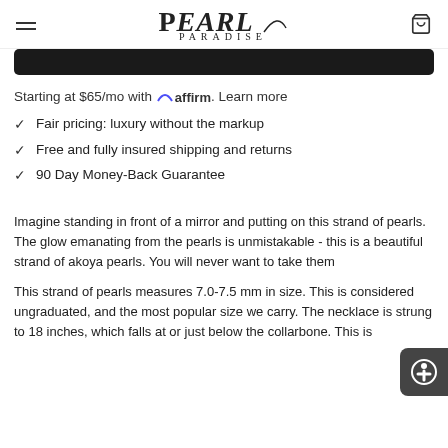Pearl Paradise
[Figure (other): Dark/black banner bar]
Starting at $65/mo with affirm. Learn more
Fair pricing: luxury without the markup
Free and fully insured shipping and returns
90 Day Money-Back Guarantee
Imagine standing in front of a mirror and putting on this strand of pearls. The glow emanating from the pearls is unmistakable - this is a beautiful strand of akoya pearls. You will never want to take them
This strand of pearls measures 7.0-7.5 mm in size. This is considered ungraduated, and the most popular size we carry. The necklace is strung to 18 inches, which falls at or just below the collarbone. This is